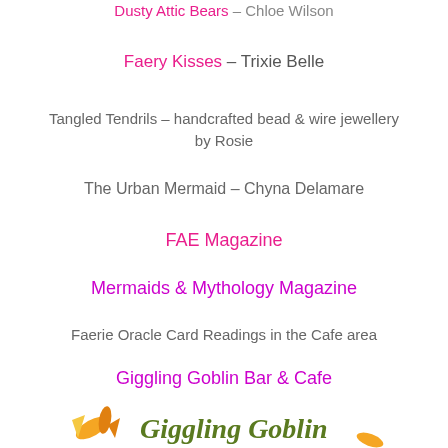Dusty Attic Bears – Chloe Wilson
Faery Kisses – Trixie Belle
Tangled Tendrils – handcrafted bead & wire jewellery by Rosie
The Urban Mermaid – Chyna Delamare
FAE Magazine
Mermaids & Mythology Magazine
Faerie Oracle Card Readings in the Cafe area
Giggling Goblin Bar & Cafe
[Figure (logo): Giggling Goblin cursive logo with fairy/goblin illustration in orange and green]